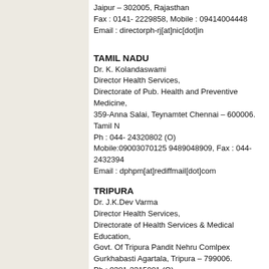Jaipur – 302005, Rajasthan
Fax : 0141- 2229858, Mobile : 09414004448
Email : directorph-rj[at]nic[dot]in
TAMIL NADU
Dr. K. Kolandaswami
Director Health Services,
Directorate of Pub. Health and Preventive Medicine,
359-Anna Salai, Teynamtet Chennai – 600006. Tamil Nadu
Ph : 044- 24320802 (O)
Mobile:09003070125 9489048909, Fax : 044-24323942
Email : dphpm[at]rediffmail[dot]com
TRIPURA
Dr. J.K.Dev Varma
Director Health Services,
Directorate of Health Services & Medical Education,
Govt. Of Tripura Pandit Nehru Comlpex
Gurkhabasti Agartala, Tripura – 799006.
Ph : 0381-2315001 (O)
Fax : 0381-2225889; 0381-2226602
Mobile : 09436136673
Email : dhsgovttripura[at]gmail[dot]com
UTTARAKHAND
Dr. D.S. Rawat,
Director Health Services,
Directorate of Health Services
107 Chander Nagar, DEHRADUN-248001
Ph : 0135-2623723 (O)
Mobile : 09412057966
Email : dgmedicalhealthuk[at]gmail[dot]com